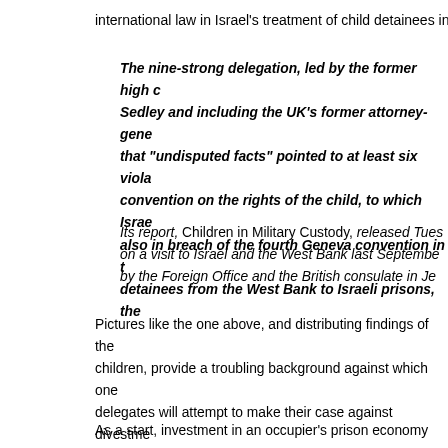international law in Israel's treatment of child detainees in m
The nine-strong delegation, led by the former high c Sedley and including the UK's former attorney-gene that "undisputed facts" pointed to at least six viola convention on the rights of the child, to which Israe also in breach of the fourth Geneva convention in t detainees from the West Bank to Israeli prisons, the
Its report, Children in Military Custody, released Tues on a visit to Israel and the West Bank last Septembe by the Foreign Office and the British consulate in Je
Pictures like the one above, and distributing findings of the children, provide a troubling background against which one delegates will attempt to make their case against divestme the Palestinian economy. That case is on shaky moral grou
As a start, investment in an occupier's prison economy sam